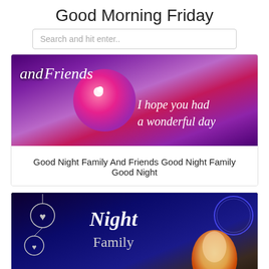Good Morning Friday
Search and hit enter..
[Figure (illustration): Purple and pink floral graphic with scripted text: 'and Friends I hope you had a wonderful day']
Good Night Family And Friends Good Night Family Good Night
[Figure (illustration): Dark blue/black graphic with diamond heart ornaments and the words 'Night Family' in decorative script, with a glowing orange/yellow soft-boiled egg on the right side]